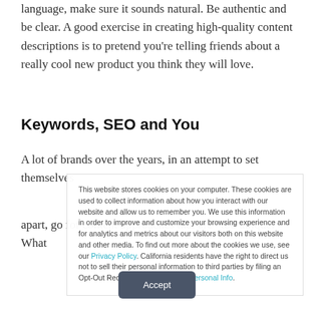language, make sure it sounds natural. Be authentic and be clear. A good exercise in creating high-quality content descriptions is to pretend you're telling friends about a really cool new product you think they will love.
Keywords, SEO and You
A lot of brands over the years, in an attempt to set themselves apart, go for content approaches that are "too unique." What
This website stores cookies on your computer. These cookies are used to collect information about how you interact with our website and allow us to remember you. We use this information in order to improve and customize your browsing experience and for analytics and metrics about our visitors both on this website and other media. To find out more about the cookies we use, see our Privacy Policy. California residents have the right to direct us not to sell their personal information to third parties by filing an Opt-Out Request: Do Not Sell My Personal Info.
Accept